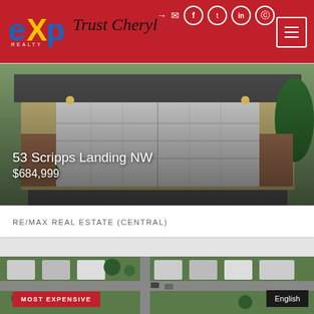[Figure (logo): eXp Realty logo in blue and yellow on red background, with Trust Cheryl cursive text beside it]
[Figure (photo): Exterior photo of house at 53 Scripps Landing NW showing double garage door, brick facade, and landscaping]
53 Scripps Landing NW
$684,999
RE/MAX REAL ESTATE (CENTRAL)
[Figure (photo): Aerial view of residential neighborhood with trees and homes, labeled MOST EXPENSIVE]
MOST EXPENSIVE
English